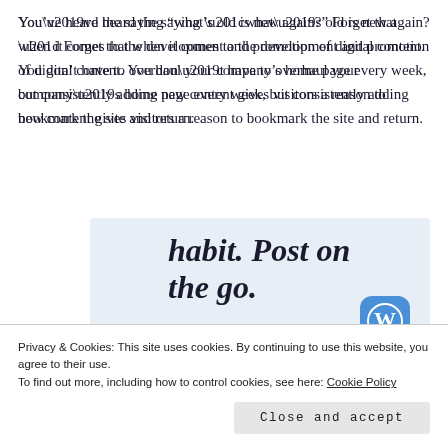You’ve heard the saying “what’s old is new again?” Forget that when it comes to the development and promotion of digital content. You don’t have to overhaul your company’s home page every week, but consistently adding new content gives visitors a reason to bookmark the site and return.
[Figure (screenshot): Advertisement banner with italic bold serif text reading 'habit. Post on the go.' with a 'GET THE APP' call-to-action link in blue and a circular WordPress logo icon, on a light blue-grey background.]
Privacy & Cookies: This site uses cookies. By continuing to use this website, you agree to their use.
To find out more, including how to control cookies, see here: Cookie Policy
Close and accept